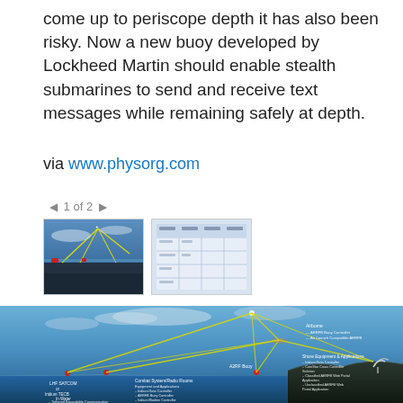come up to periscope depth it has also been risky. Now a new buoy developed by Lockheed Martin should enable stealth submarines to send and receive text messages while remaining safely at depth.
via www.physorg.com
◄ 1 of 2 ►
[Figure (illustration): Two thumbnail images of submarine communication system diagrams]
[Figure (engineering-diagram): Lockheed Martin AERFB buoy communication system diagram showing UHF SATCOM, Iridium TECB, AERFB Buoy, aircraft relay, satellite links with yellow signal lines, shore equipment and applications, combat system radio rooms equipment. Labels include: Airborne: AERFB Buoy Controller, Air Launch Compatible AERFB; Shore Equipment & Applications: Iridium Data Controller, ComStar Cross Controller Solution, Classified AERFB Web Portal Application, Unclassified AERFB Web Portal Application; In Water: Tethered Expandable Communication Buoy – UHF, Tethered Expandable Communication; Combat System/Radio Rooms Equipment and Applications: Iridium Data Controller, AERFB Buoy Controller, Iridium Modem Controller; LHF SATCOM or Iridium TECB]